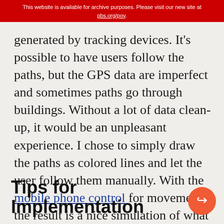This website is available for archive purposes. Please visit our new site at pbs.org/pov.
generated by tracking devices. It's possible to have users follow the paths, but the GPS data are imperfect and sometimes paths go through buildings. Without a lot of data clean-up, it would be an unpleasant experience. I chose to simply draw the paths as colored lines and let the user follow them manually. With the mobile phone control for movement, the result is a nice simulation of what it might be like to ride through the city.
Tips for Implementation